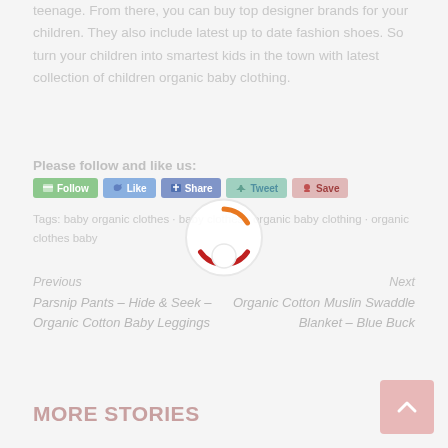teenage. From there, you can buy top designer brands for your children. They also include latest up to date fashion shoes. So turn your children into smartest kids in the town with latest collection of children organic baby clothing.
Please follow and like us:
[Figure (screenshot): Social media buttons: Follow, Like, Share, Tweet, Save]
Tags: baby organic clothes · baby clothes · organic baby clothing · organic clothes baby
[Figure (other): Loading spinner overlay (orange and red arc with white background)]
Previous
Parsnip Pants – Hide & Seek – Organic Cotton Baby Leggings
Next
Organic Cotton Muslin Swaddle Blanket – Blue Buck
MORE STORIES